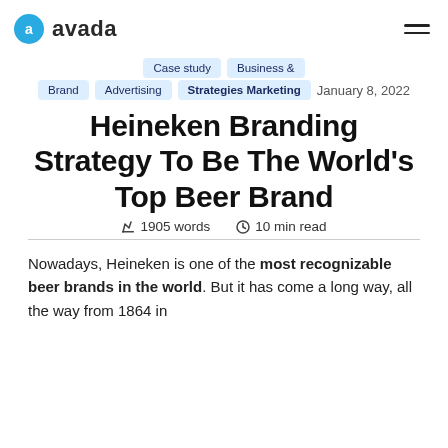avada
Case study   Business & Brand   Advertising   Strategies Marketing   January 8, 2022
Heineken Branding Strategy To Be The World's Top Beer Brand
1905 words   10 min read
Nowadays, Heineken is one of the most recognizable beer brands in the world. But it has come a long way, all the way from 1864 in